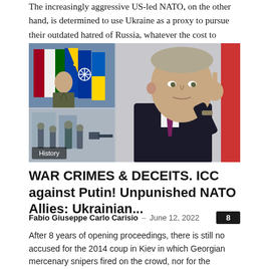The increasingly aggressive US-led NATO, on the other hand, is determined to use Ukraine as a proxy to pursue their outdated hatred of Russia, whatever the cost to everyone else.
[Figure (photo): Composite photo: left side shows a military official in green uniform in front of NATO and other flags, with a lower panel showing soldiers; right side shows Vladimir Putin in a dark suit with purple tie, pointing upward with his index finger. A 'History' badge appears in the lower left.]
WAR CRIMES & DECEITS. ICC against Putin! Unpunished NATO Allies: Ukrainian...
Fabio Giuseppe Carlo Carisio – June 12, 2022
After 8 years of opening proceedings, there is still no accused for the 2014 coup in Kiev in which Georgian mercenary snipers fired on the crowd, nor for the massacres in the pro-Russian Donbass